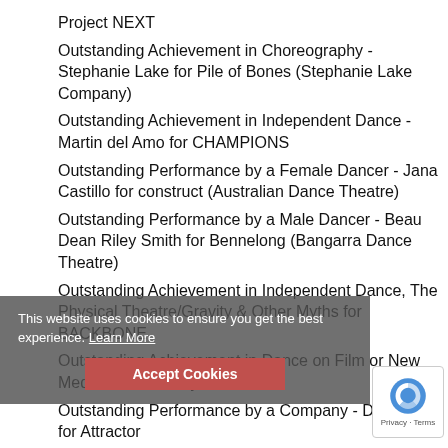Project NEXT
Outstanding Achievement in Choreography - Stephanie Lake for Pile of Bones (Stephanie Lake Company)
Outstanding Achievement in Independent Dance - Martin del Amo for CHAMPIONS
Outstanding Performance by a Female Dancer - Jana Castillo for construct (Australian Dance Theatre)
Outstanding Performance by a Male Dancer - Beau Dean Riley Smith for Bennelong (Bangarra Dance Theatre)
Outstanding Achievement in Independent Dance, The Physical Theatre/Gravity & Other Myths for BACKBONE
Outstanding Achievement in Dance on Film or New Media - Sue Healey for Eileen
Outstanding Performance by a Company - Dancenorth for Attractor